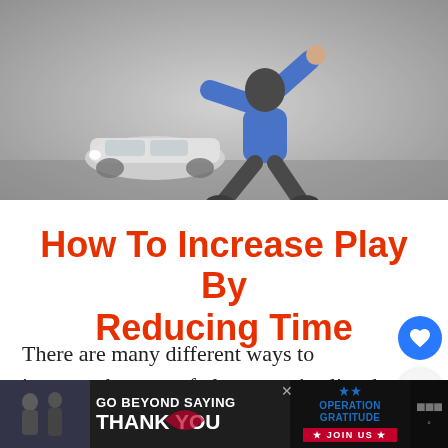[Figure (photo): A person in a blue hoodie and dark pants dancing or struggling in heavy wind and fog on a road; a white car is visible in the misty background]
How To Increase Play By Reducing Time
There are many different ways to increase the pace of play, so we've listed 20 different ways to improve your playing time below:
[Figure (infographic): Advertisement banner: GO BEYOND SAYING THANK YOU — OPERATION GRATITUDE — JOIN US, with a dark background and people in uniform on the left side]